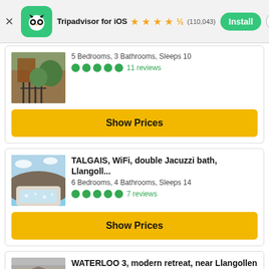[Figure (screenshot): Tripadvisor app banner with owl logo, install button, open in app button, iOS rating 4.5 stars (110,043 reviews)]
[Figure (photo): Property photo showing iron gate and brick building exterior with garden]
5 Bedrooms, 3 Bathrooms, Sleeps 10
11 reviews (5 green dots rating)
Show Prices
[Figure (photo): Property photo showing outdoor hot tub/jacuzzi with countryside view]
TALGAIS, WiFi, double Jacuzzi bath, Llangoll...
6 Bedrooms, 4 Bathrooms, Sleeps 14
7 reviews (5 green dots rating)
Show Prices
[Figure (photo): Property photo showing building exterior]
WATERLOO 3, modern retreat, near Llangollen
2 Bedrooms, 1 Bathroom, Sleeps 4